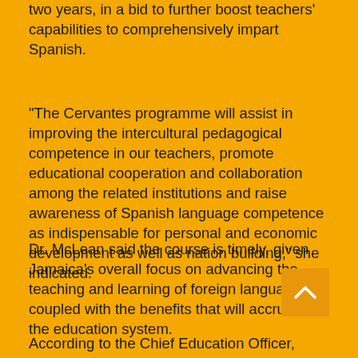two years, in a bid to further boost teachers' capabilities to comprehensively impart Spanish.
“The Cervantes programme will assist in improving the intercultural pedagogical competence in our teachers, promote educational cooperation and collaboration among the related institutions and raise awareness of Spanish language competence as indispensable for personal and economic development as well as nation building,” she indicated.
Dr. McLean said the course is timely, given Jamaica’s overall focus on advancing the teaching and learning of foreign languages coupled with the benefits that will accrue to the education system.
According to the Chief Education Officer, teachers of